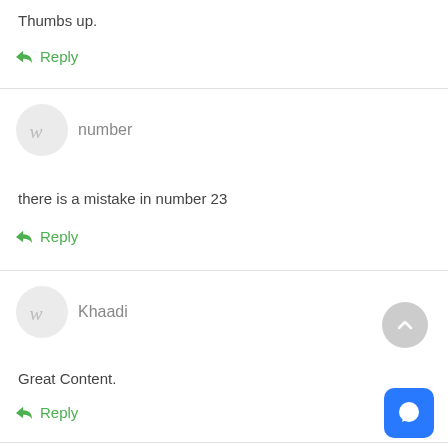Thumbs up.
Reply
number
there is a mistake in number 23
Reply
Khaadi
Great Content.
Reply